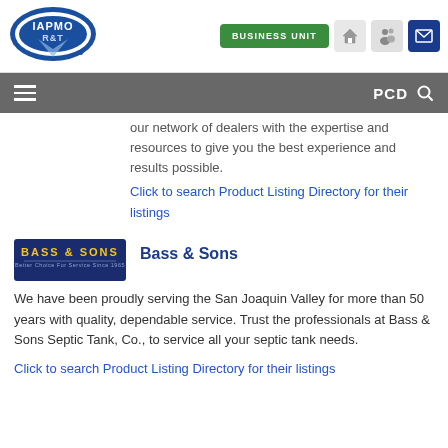[Figure (logo): IAPMO R&T logo — oval blue badge with white text]
[Figure (infographic): Header buttons: BUSINESS UNIT green button, home icon, mail icon]
[Figure (infographic): Navigation bar with hamburger menu and PCD search]
our network of dealers with the expertise and resources to give you the best experience and results possible.
Click to search Product Listing Directory for their listings
[Figure (logo): Bass & Sons company logo — dark blue rectangle with yellow text]
Bass & Sons
We have been proudly serving the San Joaquin Valley for more than 50 years with quality, dependable service. Trust the professionals at Bass & Sons Septic Tank, Co., to service all your septic tank needs.
Click to search Product Listing Directory for their listings